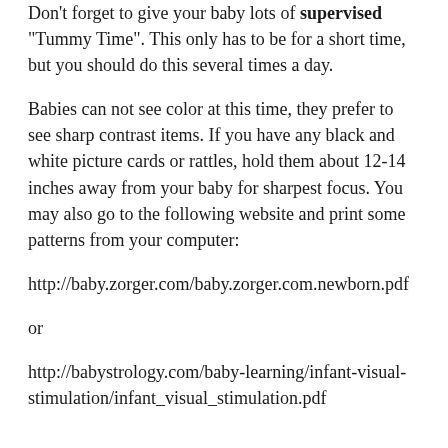Don't forget to give your baby lots of supervised "Tummy Time". This only has to be for a short time, but you should do this several times a day.
Babies can not see color at this time, they prefer to see sharp contrast items. If you have any black and white picture cards or rattles, hold them about 12-14 inches away from your baby for sharpest focus. You may also go to the following website and print some patterns from your computer:
http://baby.zorger.com/baby.zorger.com.newborn.pdf
or
http://babystrology.com/baby-learning/infant-visual-stimulation/infant_visual_stimulation.pdf